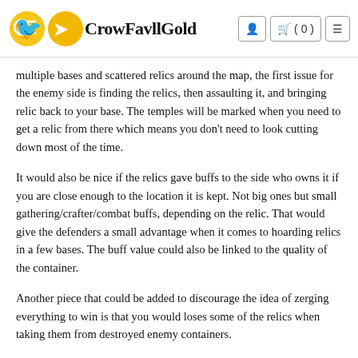CrowFavllGold — navigation header with logo, user icon, cart (0), and menu
multiple bases and scattered relics around the map, the first issue for the enemy side is finding the relics, then assaulting it, and bringing relic back to your base. The temples will be marked when you need to get a relic from there which means you don't need to look cutting down most of the time.
It would also be nice if the relics gave buffs to the side who owns it if you are close enough to the location it is kept. Not big ones but small gathering/crafter/combat buffs, depending on the relic. That would give the defenders a small advantage when it comes to hoarding relics in a few bases. The buff value could also be linked to the quality of the container.
Another piece that could be added to discourage the idea of zerging everything to win is that you would loses some of the relics when taking them from destroyed enemy containers.